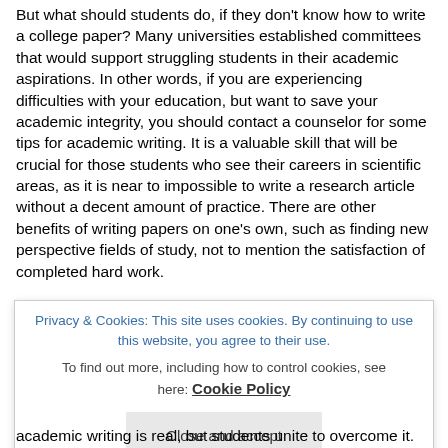But what should students do, if they don't know how to write a college paper? Many universities established committees that would support struggling students in their academic aspirations. In other words, if you are experiencing difficulties with your education, but want to save your academic integrity, you should contact a counselor for some tips for academic writing. It is a valuable skill that will be crucial for those students who see their careers in scientific areas, as it is near to impossible to write a research article without a decent amount of practice. There are other benefits of writing papers on one's own, such as finding new perspective fields of study, not to mention the satisfaction of completed hard work.
It is important to understand that academic writing is not going to disappear anytime soon, if ever. It is the only
[Figure (other): Cookie consent popup overlay with text: 'Privacy & Cookies: This site uses cookies. By continuing to use this website, you agree to their use. To find out more, including how to control cookies, see here: Cookie Policy' and a 'Close and accept' button.]
academic writing is real, but students unite to overcome it.